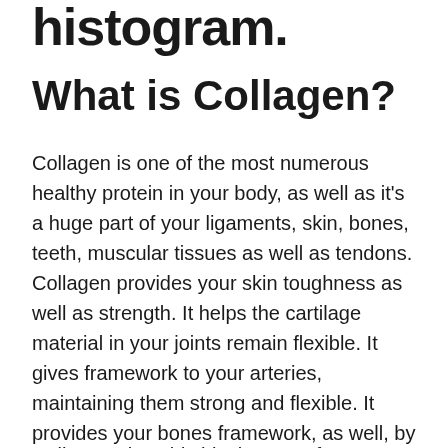histogram.
What is Collagen?
Collagen is one of the most numerous healthy protein in your body, as well as it's a huge part of your ligaments, skin, bones, teeth, muscular tissues as well as tendons. Collagen provides your skin toughness as well as strength. It helps the cartilage material in your joints remain flexible. It gives framework to your arteries, maintaining them strong and flexible. It provides your bones framework, as well, by serving as 'enhancing rods'. Collagen is an outstanding building material.
Collagen also aids block more of your most...